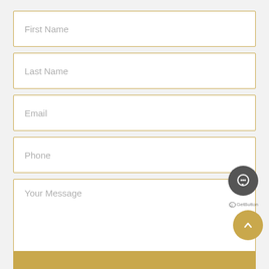First Name
Last Name
Email
Phone
Your Message
[Figure (other): GetButton chat widget icon - dark gray circular button with speech bubble icon]
[Figure (other): Scroll-to-top button - tan/gold circular button with upward chevron]